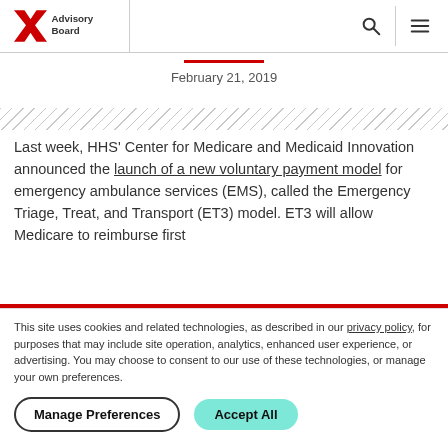Advisory Board — navigation header with logo, search icon, and menu icon
February 21, 2019
[Figure (other): Diagonal hatched pattern decorative divider]
Last week, HHS' Center for Medicare and Medicaid Innovation announced the launch of a new voluntary payment model for emergency ambulance services (EMS), called the Emergency Triage, Treat, and Transport (ET3) model. ET3 will allow Medicare to reimburse first
This site uses cookies and related technologies, as described in our privacy policy, for purposes that may include site operation, analytics, enhanced user experience, or advertising. You may choose to consent to our use of these technologies, or manage your own preferences.
Manage Preferences   Accept All